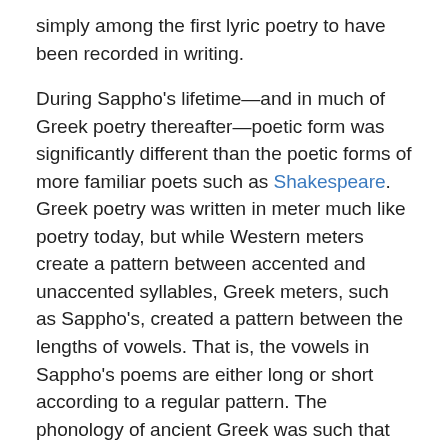simply among the first lyric poetry to have been recorded in writing.
During Sappho's lifetime—and in much of Greek poetry thereafter—poetic form was significantly different than the poetic forms of more familiar poets such as Shakespeare. Greek poetry was written in meter much like poetry today, but while Western meters create a pattern between accented and unaccented syllables, Greek meters, such as Sappho's, created a pattern between the lengths of vowels. That is, the vowels in Sappho's poems are either long or short according to a regular pattern. The phonology of ancient Greek was such that this style of poetic meter was possible; but the pronunciation and number of vowels in modern Western languages is drastically different, and it is impossible to render Sapphic meter into a modern language like English.
Like all early lyric poetry, Sappho's works were composed